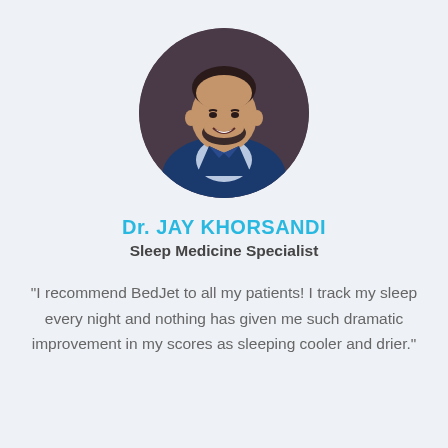[Figure (photo): Circular headshot photo of Dr. Jay Khorsandi, a man in a navy blue suit and patterned tie, smiling against a dark background]
Dr. JAY KHORSANDI
Sleep Medicine Specialist
“I recommend BedJet to all my patients! I track my sleep every night and nothing has given me such dramatic improvement in my scores as sleeping cooler and drier.”